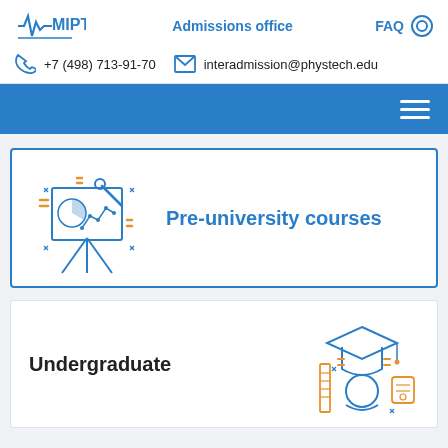[Figure (logo): MIPT logo with waveform and text]
Admissions office
FAQ
+7 (498) 713-91-70
interadmission@phystech.edu
[Figure (illustration): Chart/data analysis icon with orange and blue line art]
Pre-university courses
[Figure (illustration): Graduate student with diploma icon in orange and blue line art]
Undergraduate